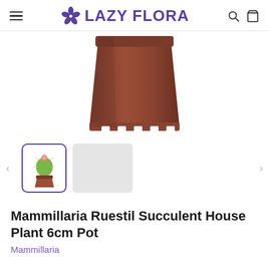LAZY FLORA
[Figure (photo): A small cactus (Mammillaria) in a brown plastic pot, viewed from above, showing only the pot portion against a white background]
[Figure (photo): Thumbnail: small Mammillaria cactus in brown pot, selected (purple border). Second thumbnail is blank/grey placeholder.]
Mammillaria Ruestil Succulent House Plant 6cm Pot
Mammillaria